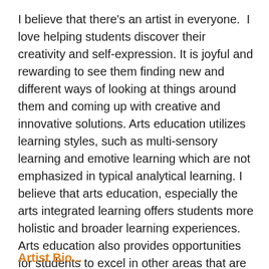I believe that there's an artist in everyone.  I love helping students discover their creativity and self-expression. It is joyful and rewarding to see them finding new and different ways of looking at things around them and coming up with creative and innovative solutions. Arts education utilizes learning styles, such as multi-sensory learning and emotive learning which are not emphasized in typical analytical learning. I believe that arts education, especially the arts integrated learning offers students more holistic and broader learning experiences. Arts education also provides opportunities for students to excel in other areas that are not tapped into in a traditional classroom setting. The joy of art-making, creative exploration and learning through the arts are focused in various residencies I offer. I provide residencies in drama, puppetry, masks, creative movement, and Korean dance & music.
Artist Bio...